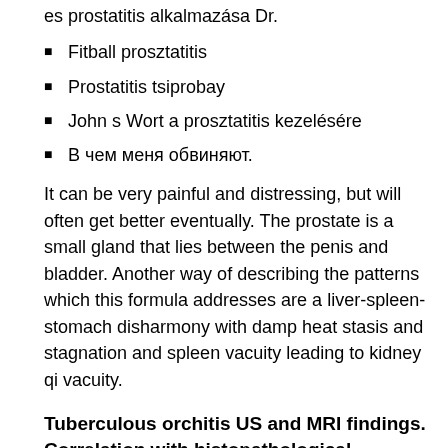es prostatitis alkalmazása Dr.
Fitball prosztatitis
Prostatitis tsiprobay
John s Wort a prosztatitis kezelésére
В чем меня обвиняют.
It can be very painful and distressing, but will often get better eventually. The prostate is a small gland that lies between the penis and bladder. Another way of describing the patterns which this formula addresses are a liver-spleen-stomach disharmony with damp heat stasis and stagnation and spleen vacuity leading to kidney qi vacuity.
Tuberculous orchitis US and MRI findings. Correlation with histopathological findings